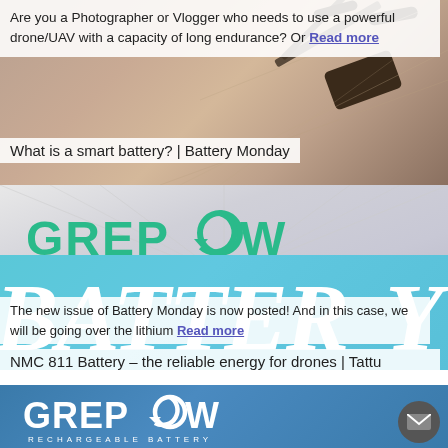Are you a Photographer or Vlogger who needs to use a powerful drone/UAV with a capacity of long endurance? Or Read more
[Figure (photo): Drone/UAV silhouette photo with warm sandy background tones]
What is a smart battery? | Battery Monday
[Figure (logo): Grepow Rechargeable Battery logo on gray gradient background with Battery Monday graphic at bottom]
The new issue of Battery Monday is now posted! And in this case, we will be going over the lithium Read more
NMC 811 Battery – the reliable energy for drones | Tattu
[Figure (logo): Grepow Rechargeable Battery logo on blue background, partial view at bottom of page]